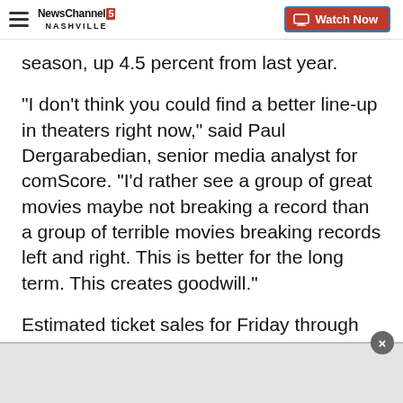NewsChannel 5 Nashville — Watch Now
season, up 4.5 percent from last year.
"I don't think you could find a better line-up in theaters right now," said Paul Dergarabedian, senior media analyst for comScore. "I'd rather see a group of great movies maybe not breaking a record than a group of terrible movies breaking records left and right. This is better for the long term. This creates goodwill."
Estimated ticket sales for Friday through Sunday at U.S. and Canadian theaters, according to comScore.